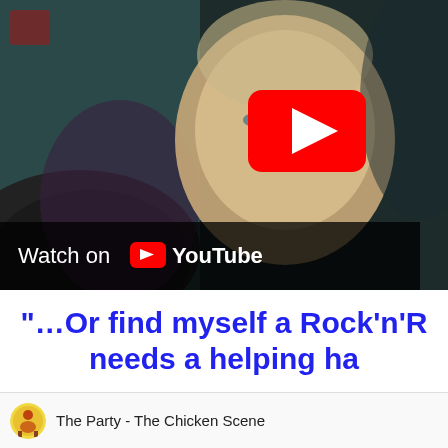[Figure (screenshot): YouTube video thumbnail showing a close-up of a man's face in a dark cinematic scene. A red YouTube play button is visible in the upper right area of the video. At the bottom left of the thumbnail is a dark overlay bar reading 'Watch on YouTube' with the YouTube logo.]
“…Or find myself a Rock’n’R needs a helping ha
[Figure (screenshot): YouTube video player header showing a channel icon (circular colorful icon) and the title 'The Party - The Chicken Scene']